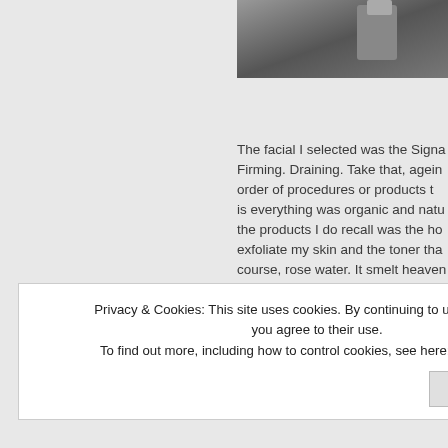[Figure (photo): Partial photo of what appears to be a spa or beauty treatment room, cropped at top right]
The facial I selected was the Signa Firming. Draining. Take that, agein order of procedures or products t is everything was organic and natu the products I do recall was the ho exfoliate my skin and the toner tha course, rose water. It smelt heaven mention because I want to try at h head remover. Apply it like you wo the time it sits on your face, you a your face and lift the dirt out with yummy right? A must try for sure!
Privacy & Cookies: This site uses cookies. By continuing to use this website, you agree to their use.
To find out more, including how to control cookies, see here: Cookie Policy
Close and accept